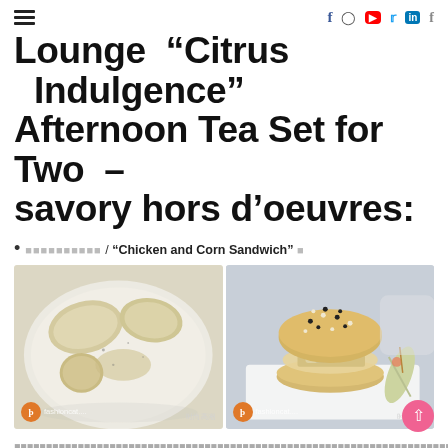≡ navigation menu with social icons: f (Facebook), Instagram, YouTube, Twitter, LinkedIn, f
Lounge “Citrus Indulgence” Afternoon Tea Set for Two – savory hors d’oeuvres:
■■■■■■■■■■ / “Chicken and Corn Sandwich” ■
[Figure (photo): Two food photos side by side. Left: a white plate with pieces of a broken bread sandwich. Right: a seeded black-and-white bun sandwich with chicken and corn filling on a white tray with a wrap roll. Both photos have Fashioncat watermark logo and Chinese text watermarks.]
■■■■■■■■■■■■■■■■■■■■■■■■■■■■■■■■■■■■■■■■■■■■■■■■■■■■■■■■■■■■■■■■■■■■■■■■■■■■■■■■■■■■■■■■■■■■■■■■■■■■■■■■■■■■■■■■■■■■■■■■■■